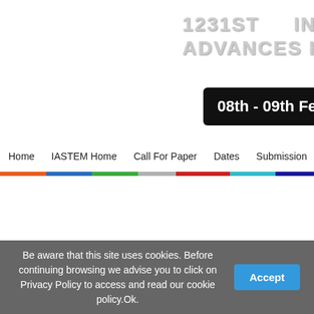1231ST INTER... ADVANCES IN E...
08th - 09th Fe...
Home  IASTEM Home  Call For Paper  Dates  Submission  Registration  Autho...
Be aware that this site uses cookies. Before continuing browsing we advise you to click on Privacy Policy to access and read our cookie policy.Ok.
Accept